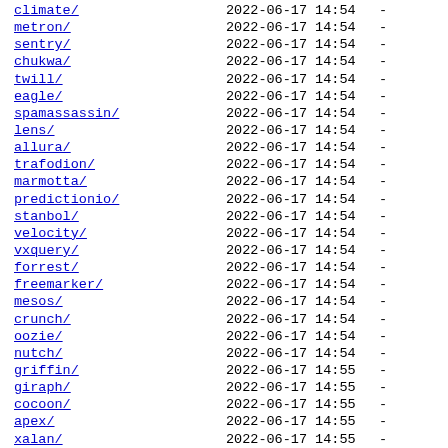| Name | Date | Size |
| --- | --- | --- |
| climate/ | 2022-06-17 14:54 | - |
| metron/ | 2022-06-17 14:54 | - |
| sentry/ | 2022-06-17 14:54 | - |
| chukwa/ | 2022-06-17 14:54 | - |
| twill/ | 2022-06-17 14:54 | - |
| eagle/ | 2022-06-17 14:54 | - |
| spamassassin/ | 2022-06-17 14:54 | - |
| lens/ | 2022-06-17 14:54 | - |
| allura/ | 2022-06-17 14:54 | - |
| trafodion/ | 2022-06-17 14:54 | - |
| marmotta/ | 2022-06-17 14:54 | - |
| predictionio/ | 2022-06-17 14:54 | - |
| stanbol/ | 2022-06-17 14:54 | - |
| velocity/ | 2022-06-17 14:54 | - |
| vxquery/ | 2022-06-17 14:54 | - |
| forrest/ | 2022-06-17 14:54 | - |
| freemarker/ | 2022-06-17 14:54 | - |
| mesos/ | 2022-06-17 14:54 | - |
| crunch/ | 2022-06-17 14:54 | - |
| oozie/ | 2022-06-17 14:54 | - |
| nutch/ | 2022-06-17 14:54 | - |
| griffin/ | 2022-06-17 14:55 | - |
| giraph/ | 2022-06-17 14:55 | - |
| cocoon/ | 2022-06-17 14:55 | - |
| apex/ | 2022-06-17 14:55 | - |
| xalan/ | 2022-06-17 14:55 | - |
| aurora/ | 2022-06-17 14:55 | - |
| falcon/ | 2022-06-17 14:55 | - |
| vcl/ | 2022-06-17 14:55 | - |
| gora/ | 2022-06-17 14:55 | - |